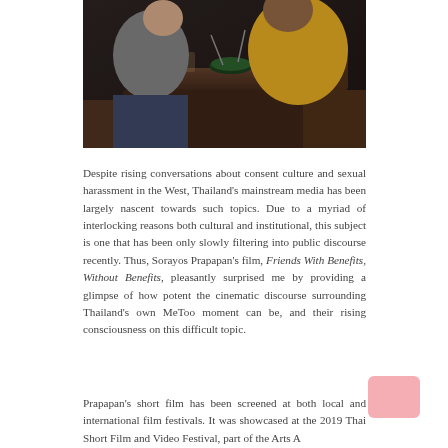[Figure (photo): Two people sitting at a wooden restaurant table eating a meal. One person on the left is wearing a grey t-shirt and dark shorts, the other on the right is wearing a yellow/orange outfit. The setting is dim and intimate.]
Despite rising conversations about consent culture and sexual harassment in the West, Thailand's mainstream media has been largely nascent towards such topics. Due to a myriad of interlocking reasons both cultural and institutional, this subject is one that has been only slowly filtering into public discourse recently. Thus, Sorayos Prapapan's film, Friends With Benefits, Without Benefits, pleasantly surprised me by providing a glimpse of how potent the cinematic discourse surrounding Thailand's own MeToo moment can be, and their rising consciousness on this difficult topic.
Prapapan's short film has been screened at both local and international film festivals. It was showcased at the 2019 Thai Short Film and Video Festival, part of the Arts...